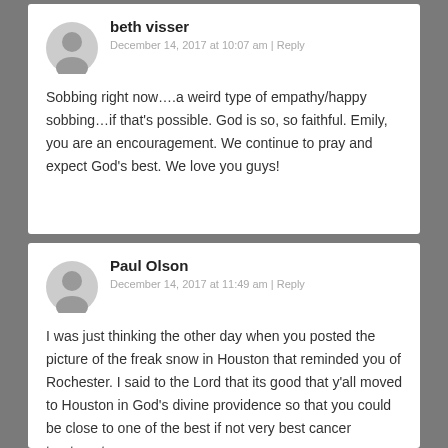beth visser
December 14, 2017 at 10:07 am | Reply
Sobbing right now….a weird type of empathy/happy sobbing…if that's possible. God is so, so faithful. Emily, you are an encouragement. We continue to pray and expect God's best. We love you guys!
Paul Olson
December 14, 2017 at 11:49 am | Reply
I was just thinking the other day when you posted the picture of the freak snow in Houston that reminded you of Rochester. I said to the Lord that its good that y'all moved to Houston in God's divine providence so that you could be close to one of the best if not very best cancer treatment